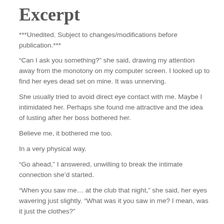Excerpt
***Unedited. Subject to changes/modifications before publication.***
“Can I ask you something?” she said, drawing my attention away from the monotony on my computer screen. I looked up to find her eyes dead set on mine. It was unnerving.
She usually tried to avoid direct eye contact with me. Maybe I intimidated her. Perhaps she found me attractive and the idea of lusting after her boss bothered her.
Believe me, it bothered me too.
In a very physical way.
“Go ahead,” I answered, unwilling to break the intimate connection she’d started.
“When you saw me… at the club that night,” she said, her eyes wavering just slightly. “What was it you saw in me? I mean, was it just the clothes?”
My eyebrows furrowed in confusion. Even though I’d said I wouldn’t speak of what happened that drunken night two weeks ago, I saw something in her eyes that needed an answer.